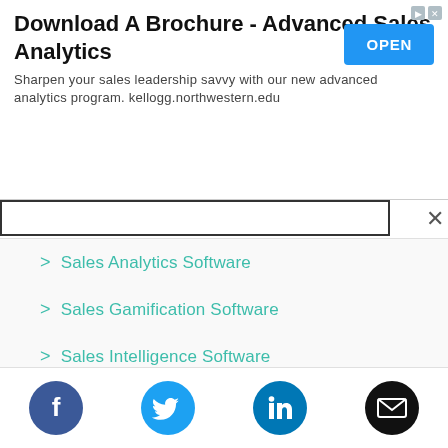[Figure (screenshot): Advertisement banner: 'Download A Brochure - Advanced Sales Analytics' with blue OPEN button and subtext: 'Sharpen your sales leadership savvy with our new advanced analytics program. kellogg.northwestern.edu']
Sales Analytics Software
Sales Gamification Software
Sales Intelligence Software
Customer Revenue Optimization Software
AI Sales Assistant Software
[Figure (illustration): Footer with four social media icons: Facebook (dark blue circle), Twitter (blue circle), LinkedIn (blue circle), Email/envelope (black circle)]